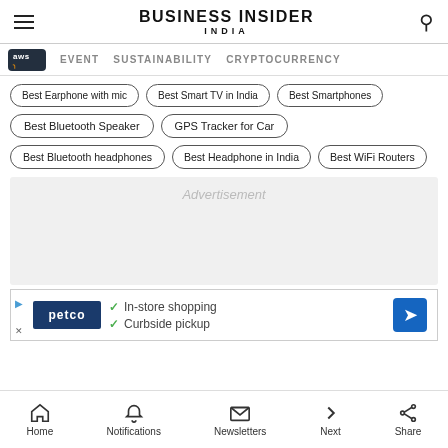Business Insider India
EVENT
SUSTAINABILITY
CRYPTOCURRENCY
Best Bluetooth Speaker
GPS Tracker for Car
Best Bluetooth headphones
Best Headphone in India
Best WiFi Routers
Advertisement
In-store shopping
Curbside pickup
Home   Notifications   Newsletters   Next   Share